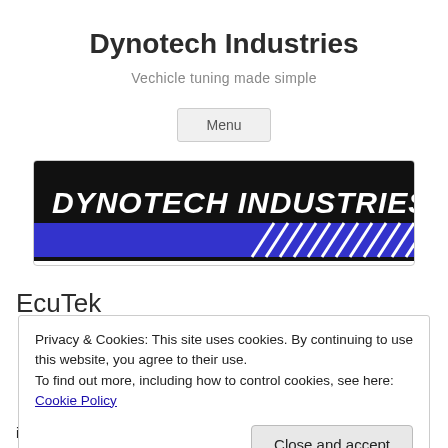Dynotech Industries
Vechicle tuning made simple
Menu
[Figure (logo): Dynotech Industries logo: black background with bold white italic text 'DYNOTECH INDUSTRIES' and a blue bar with diagonal white stripes below]
EcuTek
Privacy & Cookies: This site uses cookies. By continuing to use this website, you agree to their use.
To find out more, including how to control cookies, see here: Cookie Policy
Close and accept
increasing number ECU versions across Subaru, Mitsubishi,